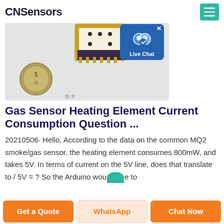CNSensors
[Figure (photo): Close-up photo of a small gas sensor module next to a coin for scale, on a gray background. The sensor has gold pins and a dark body with a ceramic top.]
Gas Sensor Heating Element Current Consumption Question ...
20210506· Hello, According to the data on the common MQ2 smoke/gas sensor, the heating element consumes 800mW, and takes 5V. In terms of current on the 5V line, does that translate to / 5V = ? So the Arduino wou e to
Get a Quote   WhatsApp   Chat Now